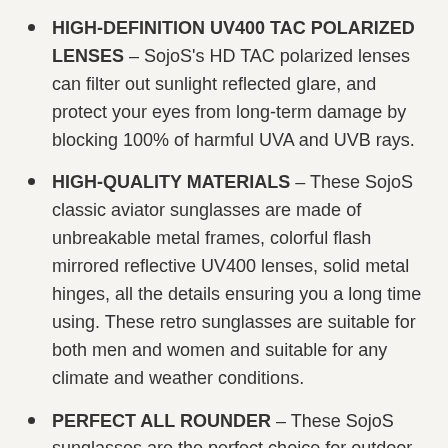HIGH-DEFINITION UV400 TAC POLARIZED LENSES – SojoS's HD TAC polarized lenses can filter out sunlight reflected glare, and protect your eyes from long-term damage by blocking 100% of harmful UVA and UVB rays.
HIGH-QUALITY MATERIALS – These SojoS classic aviator sunglasses are made of unbreakable metal frames, colorful flash mirrored reflective UV400 lenses, solid metal hinges, all the details ensuring you a long time using. These retro sunglasses are suitable for both men and women and suitable for any climate and weather conditions.
PERFECT ALL ROUNDER – These SojoS sunglasses are the perfect choice for outdoor sports and activities such as taking selfies, cycling, driving, shopping, traveling, hiking, and are suitable as a high fashion accessory and daily wear all year